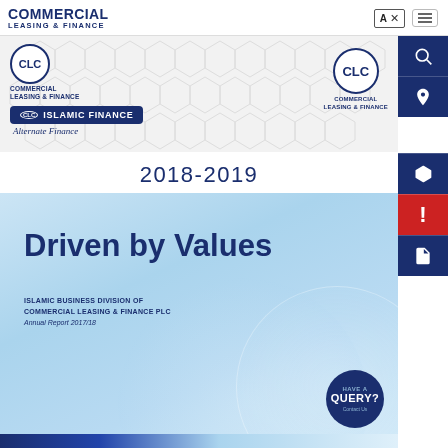COMMERCIAL LEASING & FINANCE
[Figure (logo): CLC Islamic Finance banner with hexagonal background pattern, CLC logo on left and right, Islamic Finance pill logo, Alternate Finance tagline]
2018-2019
[Figure (illustration): Annual report cover card with light blue gradient background. Title: Driven by Values. Subtitle: ISLAMIC BUSINESS DIVISION OF COMMERCIAL LEASING & FINANCE PLC. Annual Report 2017/18. Query? button bottom right.]